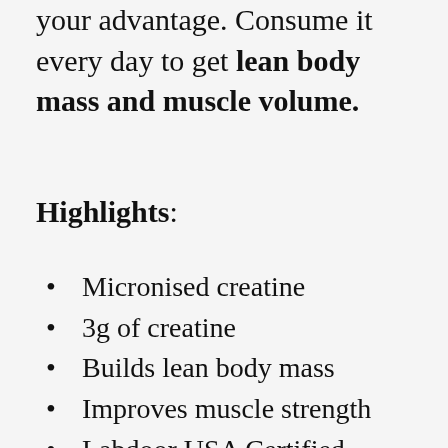your advantage. Consume it every day to get lean body mass and muscle volume.
Highlights:
Micronised creatine
3g of creatine
Builds lean body mass
Improves muscle strength
Labdoor USA Certified Creatine
Unflavoured
100g
Suitable for all